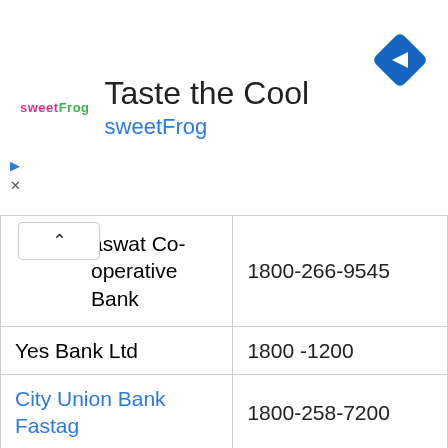[Figure (infographic): SweetFrog advertisement banner with logo, title 'Taste the Cool', subtitle 'sweetFrog', navigation arrow icon, play button, and close button]
| aswat Co-operative Bank | 1800-266-9545 |
| Yes Bank Ltd | 1800 -1200 |
| City Union Bank Fastag | 1800-258-7200 |
| ICICI Bank Fastag | 1800-2100-104 |
| Nagapur Nagarik Sahakari Bank | 1800 -266- 7183 |
| South Indian Bank Fastag | 1800-425-1809 |
| Bank of India (BOI) | 1800 425 1809 |